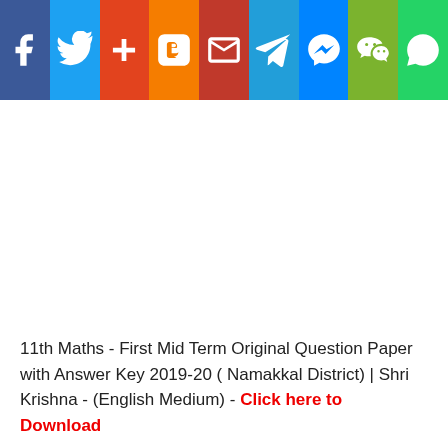[Figure (infographic): Social media sharing buttons bar: Facebook, Twitter, Google+, Blogger, Gmail, Telegram, Messenger, WeChat, WhatsApp]
11th Maths - First Mid Term Original Question Paper with Answer Key 2019-20 ( Namakkal District) | Shri Krishna - (English Medium) - Click here to Download